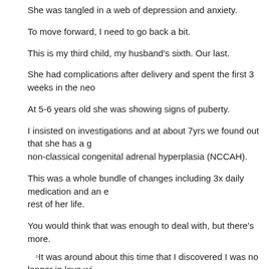She was tangled in a web of depression and anxiety.
To move forward, I need to go back a bit.
This is my third child, my husband's sixth. Our last.
She had complications after delivery and spent the first 3 weeks in the neo
At 5-6 years old she was showing signs of puberty.
I insisted on investigations and at about 7yrs we found out that she has a g non-classical congenital adrenal hyperplasia (NCCAH).
This was a whole bundle of changes including 3x daily medication and an e rest of her life.
You would think that was enough to deal with, but there's more.
It was around about this time that I discovered I was no longer in love wi
After lots of fighting, tears and deep discussions we agreed to stay toget
We thought this was the best option as our eldest was sitting the HSC.
Little did we know that our astute little girl picked up on all of this, causin deep worry about me.
She pushed her father away and became extremely clingy and attached